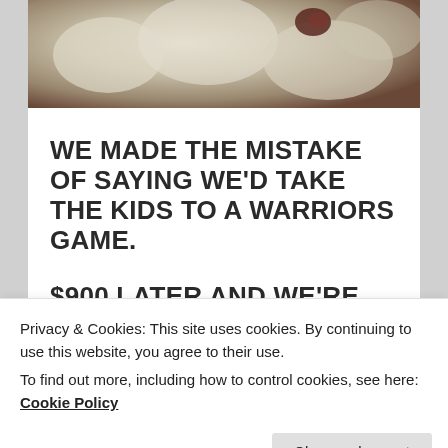[Figure (photo): Close-up photo of white and dark colored flowers or fabric, blurred background]
WE MADE THE MISTAKE OF SAYING WE'D TAKE THE KIDS TO A WARRIORS GAME.
$900 LATER AND WE'RE REEVALUATING OUR FINANCES.
OK tickets to an OK team (not OKC, mind you … little NBA abbreviation humor there … if you missed that,
Privacy & Cookies: This site uses cookies. By continuing to use this website, you agree to their use.
To find out more, including how to control cookies, see here: Cookie Policy
which means, after some research, Standing Room